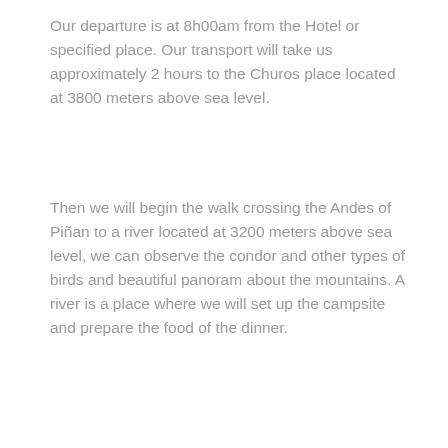Our departure is at 8h00am from the Hotel or specified place. Our transport will take us approximately 2 hours to the Churos place located at 3800 meters above sea level.
Then we will begin the walk crossing the Andes of Piñan to a river located at 3200 meters above sea level, we can observe the condor and other types of birds and beautiful panoram about the mountains. A river is a place where we will set up the campsite and prepare the food of the dinner.
Day 2    River to Piñan community
This day we will raise the camp to address the community of Piñan. At 9h00am we will cross the paramo until we reach the community of Piñan and